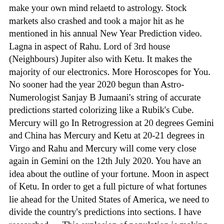make your own mind relaetd to astrology. Stock markets also crashed and took a major hit as he mentioned in his annual New Year Prediction video. Lagna in aspect of Rahu. Lord of 3rd house (Neighbours) Jupiter also with Ketu. It makes the majority of our electronics. More Horoscopes for You. No sooner had the year 2020 begun than Astro-Numerologist Sanjay B Jumaani's string of accurate predictions started colorizing like a Rubik's Cube. Mercury will go In Retrogression at 20 degrees Gemini and China has Mercury and Ketu at 20-21 degrees in Virgo and Rahu and Mercury will come very close again in Gemini on the 12th July 2020. You have an idea about the outline of your fortune. Moon in aspect of Ketu. In order to get a full picture of what fortunes lie ahead for the United States of America, we need to divide the country's predictions into sections. I have researched … This explosion of population is making China try and claim territories from neighbourhood like Tibet etc. And since the total of 2020 equals to 4, Jumaani stated that China would have a tough time this year, owing to which the world would take a beating too, economically. Knowledge and science (and even astrology, as they are all represented by Aquarius) will become the new power! 0 Opmerkingen Astrologer Steven Forrest discusses the future of his profession at the NORWAC conference in May 2007. Our astrologers take their skills to another level while making the predictions for you based on the concepts of Chinese astrology. Population of China fluctuated between 37 and 60 million for a